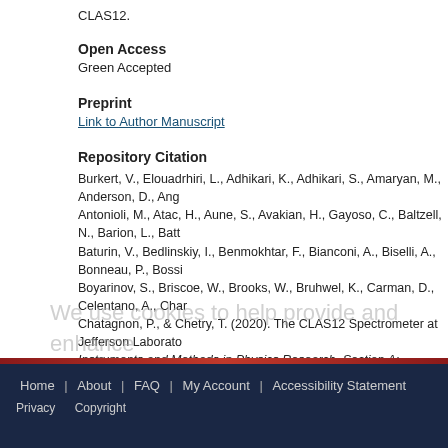CLAS12.
Open Access
Green Accepted
Preprint
Link to Author Manuscript
Repository Citation
Burkert, V., Elouadrhiri, L., Adhikari, K., Adhikari, S., Amaryan, M., Anderson, D., Ange Antonioli, M., Atac, H., Aune, S., Avakian, H., Gayoso, C., Baltzell, N., Barion, L., Batt Baturin, V., Bedlinskiy, I., Benmokhtar, F., Bianconi, A., Biselli, A., Bonneau, P., Bossi Boyarinov, S., Briscoe, W., Brooks, W., Bruhwel, K., Carman, D., Celentano, A., Char Chatagnon, P., & Chetry, T. (2020). The CLAS12 Spectrometer at Jefferson Laborato Instruments and Methods in Physics Research, Section A: Accelerators, Spectromete Detectors and Associated Equipment, 959. https://doi.org/10.1016/j.nima.2020.16341
We use cookies to help provide and enhance our service and tailor content. By closing this message, you agree to the use of cookies.
Home | About | FAQ | My Account | Accessibility Statement Privacy Copyright